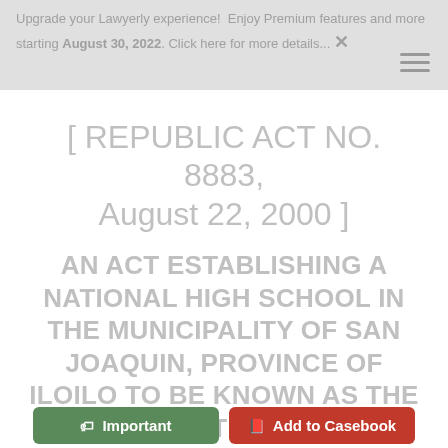Upgrade your Lawyerly experience! Enjoy Premium features and more starting August 30, 2022. Click here for more details... ✕
[ REPUBLIC ACT NO. 8883, August 22, 2000 ]
AN ACT ESTABLISHING A NATIONAL HIGH SCHOOL IN THE MUNICIPALITY OF SAN JOAQUIN, PROVINCE OF ILOILO TO BE KNOWN AS THE PITOGO NATIONAL HIGH SCHOOL AND APPROPRIATING FUNDS
Important   Add to Casebook